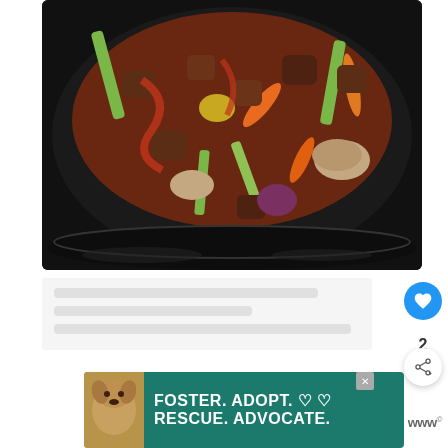[Figure (photo): A slow cooker/crock pot filled with beef stew ingredients: chunks of beef, baby carrots, celery stalks, mushrooms, potatoes, red onion, and tomato sauce, viewed from above. The pot has a black interior.]
[Figure (infographic): Floating action buttons on the right side: a blue circular heart/favorite button, a count of '2', and a share button with a node-link icon.]
[Figure (screenshot): Gray placeholder content area with two gray lines suggesting text content below the food photo.]
[Figure (photo): Advertisement banner with teal/green background showing a pit bull dog on the left and bold white text reading 'FOSTER. ADOPT. RESCUE. ADVOCATE.' with heart icons, and an X close button in the top right corner. A site logo with 'www' and degree symbol appears to the right.]